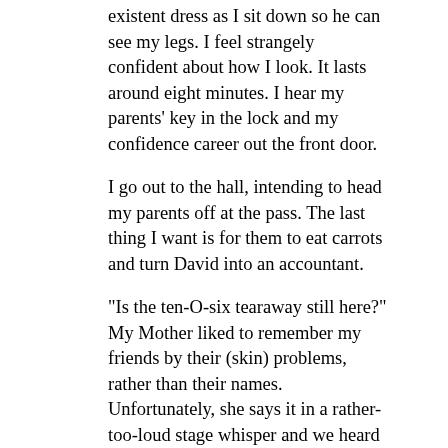existent dress as I sit down so he can see my legs. I feel strangely confident about how I look. It lasts around eight minutes. I hear my parents' key in the lock and my confidence career out the front door.
I go out to the hall, intending to head my parents off at the pass. The last thing I want is for them to eat carrots and turn David into an accountant.
"Is the ten-O-six tearaway still here?" My Mother liked to remember my friends by their (skin) problems, rather than their names. Unfortunately, she says it in a rather-too-loud stage whisper and we heard David making a hasty exit with his self-esteem trailing behind via the back door.
"I looked after" She had a...